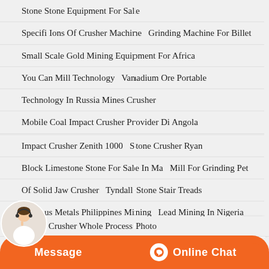Stone Stone Equipment For Sale
Specifi Ions Of Crusher Machine   Grinding Machine For Billet
Small Scale Gold Mining Equipment For Africa
You Can Mill Technology   Vanadium Ore Portable
Technology In Russia Mines Crusher
Mobile Coal Impact Crusher Provider Di Angola
Impact Crusher Zenith 1000   Stone Crusher Ryan
Block Limestone Stone For Sale In Ma   Mill For Grinding Pet
Of Solid Jaw Crusher   Tyndall Stone Stair Treads
Precious Metals Philippines Mining   Lead Mining In Nigeria
Tanzania Crusher Xsm   Iron Jaw Crusher With Output Of 5 Mm
Mill Outpup With Input   Mill Crusher Jones Magnetic
on Ore Crusher Whole Process Photo
Stone Crusher Jaw Factory In Tajikistan